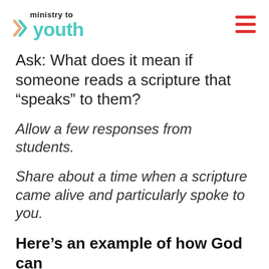ministry to youth
Ask: What does it mean if someone reads a scripture that “speaks” to them?
Allow a few responses from students.
Share about a time when a scripture came alive and particularly spoke to you.
Here’s an example of how God can